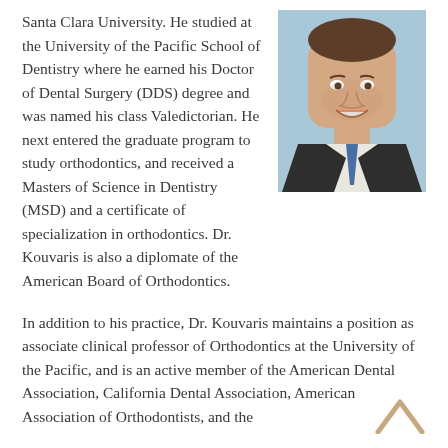Santa Clara University. He studied at the University of the Pacific School of Dentistry where he earned his Doctor of Dental Surgery (DDS) degree and was named his class Valedictorian. He next entered the graduate program to study orthodontics, and received a Masters of Science in Dentistry (MSD) and a certificate of specialization in orthodontics. Dr. Kouvaris is also a diplomate of the American Board of Orthodontics.
[Figure (photo): Professional headshot of Dr. Kouvaris, a man in a dark suit and blue tie, smiling, against a light blue background.]
In addition to his practice, Dr. Kouvaris maintains a position as associate clinical professor of Orthodontics at the University of the Pacific, and is an active member of the American Dental Association, California Dental Association, American Association of Orthodontists, and the